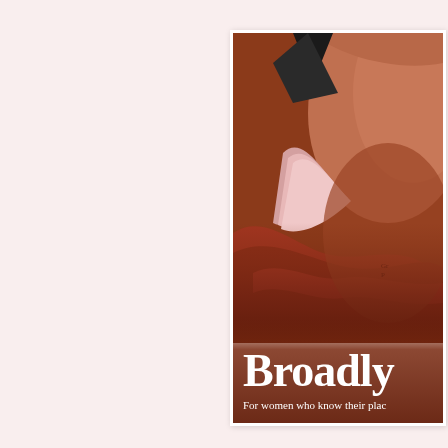[Figure (photo): Close-up photo of a person's body with warm brown/terracotta tones, pink fabric, and a small tattoo visible. A hat appears at the top. The image has rich earthy red-brown colors.]
Broadly
For women who know their pla...